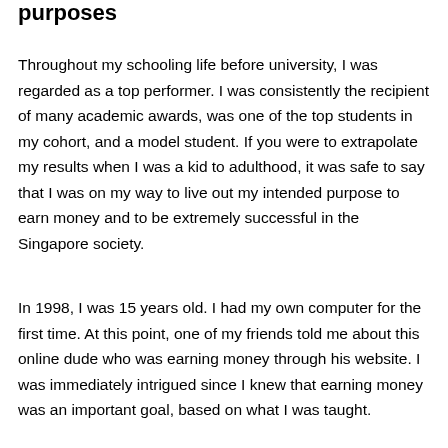purposes
Throughout my schooling life before university, I was regarded as a top performer. I was consistently the recipient of many academic awards, was one of the top students in my cohort, and a model student. If you were to extrapolate my results when I was a kid to adulthood, it was safe to say that I was on my way to live out my intended purpose to earn money and to be extremely successful in the Singapore society.
In 1998, I was 15 years old. I had my own computer for the first time. At this point, one of my friends told me about this online dude who was earning money through his website. I was immediately intrigued since I knew that earning money was an important goal, based on what I was taught.